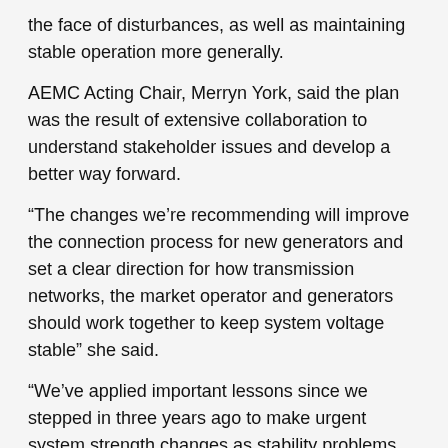the face of disturbances, as well as maintaining stable operation more generally.
AEMC Acting Chair, Merryn York, said the plan was the result of extensive collaboration to understand stakeholder issues and develop a better way forward.
“The changes we’re recommending will improve the connection process for new generators and set a clear direction for how transmission networks, the market operator and generators should work together to keep system voltage stable” she said.
“We’ve applied important lessons since we stepped in three years ago to make urgent system strength changes as stability problems emerged in the power system.
“Now we are looking to the future.”
The changes establish: